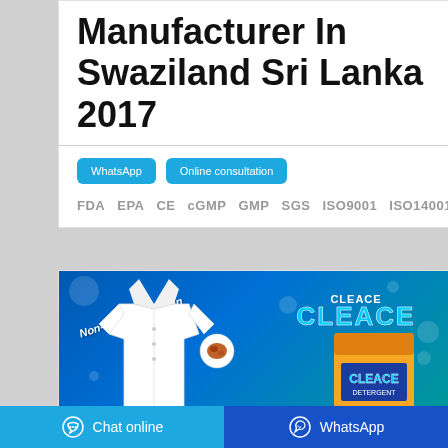Manufacturer In Swaziland Sri Lanka 2017
WhatsApp  Online consultation
FDA  EPA  CE  cGMP  GMP  SGS  ISO9001  ISO14001
[Figure (photo): Laundry detergent product advertisement showing a white shirt and CLEACE branded detergent bag on a blue sparkling background with text 'Non-harmful To Skin']
Chat online  WhatsApp